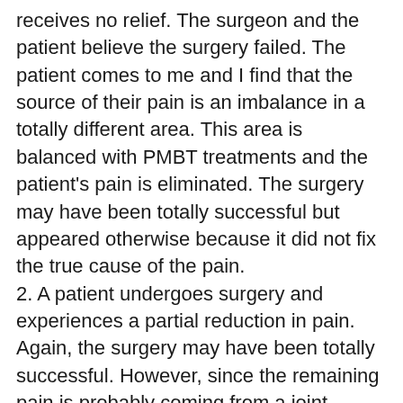receives no relief. The surgeon and the patient believe the surgery failed. The patient comes to me and I find that the source of their pain is an imbalance in a totally different area. This area is balanced with PMBT treatments and the patient's pain is eliminated. The surgery may have been totally successful but appeared otherwise because it did not fix the true cause of the pain.
2. A patient undergoes surgery and experiences a partial reduction in pain. Again, the surgery may have been totally successful. However, since the remaining pain is probably coming from a joint misalignment, the patient still suffers. This is because surgery rarely corrects imbalances and often makes them worse by creating more muscular scar tissue. After PMBT treatments to correct the imbalance, the patient's problem is then resolved.
3. A patient has surgery to repair cartilage